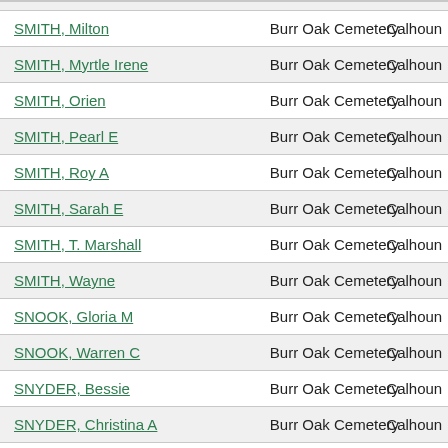| Name | Cemetery | County |
| --- | --- | --- |
| SMITH, Milton | Burr Oak Cemetery | Calhoun |
| SMITH, Myrtle Irene | Burr Oak Cemetery | Calhoun |
| SMITH, Orien | Burr Oak Cemetery | Calhoun |
| SMITH, Pearl E | Burr Oak Cemetery | Calhoun |
| SMITH, Roy A | Burr Oak Cemetery | Calhoun |
| SMITH, Sarah E | Burr Oak Cemetery | Calhoun |
| SMITH, T. Marshall | Burr Oak Cemetery | Calhoun |
| SMITH, Wayne | Burr Oak Cemetery | Calhoun |
| SNOOK, Gloria M | Burr Oak Cemetery | Calhoun |
| SNOOK, Warren C | Burr Oak Cemetery | Calhoun |
| SNYDER, Bessie | Burr Oak Cemetery | Calhoun |
| SNYDER, Christina A | Burr Oak Cemetery | Calhoun |
| SNYDER, Clara M. "Peggy" | Burr Oak Cemetery | Calhoun |
| SNYDER, David H | Burr Oak Cemetery | Calhoun |
| SNYDER, Family Marker | Burr Oak Cemetery | Calhoun |